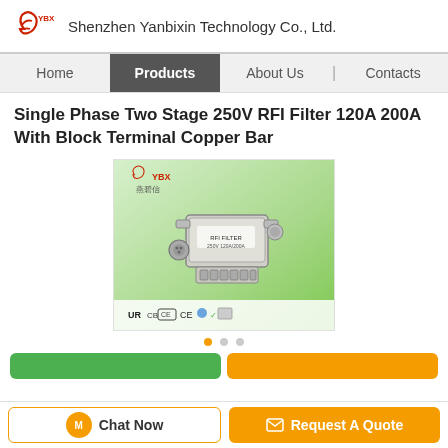Shenzhen Yanbixin Technology Co., Ltd.
Home
Products
About Us
Contacts
Single Phase Two Stage 250V RFI Filter 120A 200A With Block Terminal Copper Bar
[Figure (photo): Product photo of a Single Phase Two Stage RFI Filter with block terminal copper bar, shown on green gradient background with certification logos (UL, CB, CE, etc.) and YBX brand logo]
Chat Now
Request A Quote